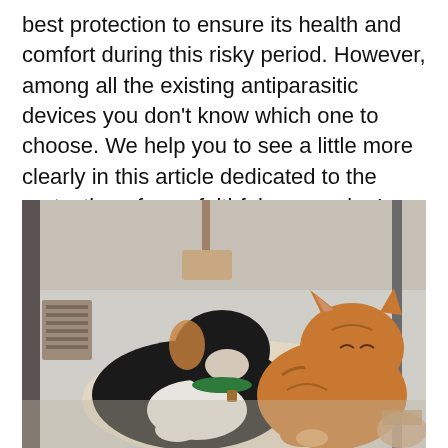best protection to ensure its health and comfort during this risky period. However, among all the existing antiparasitic devices you don't know which one to choose. We help you to see a little more clearly in this article dedicated to the protection of your faithful companion!
[Figure (photo): A dog (black and white with tan, wearing a green collar) and an orange cat resting together on a floor in sunlight near a door, with a floor vent visible on the left.]